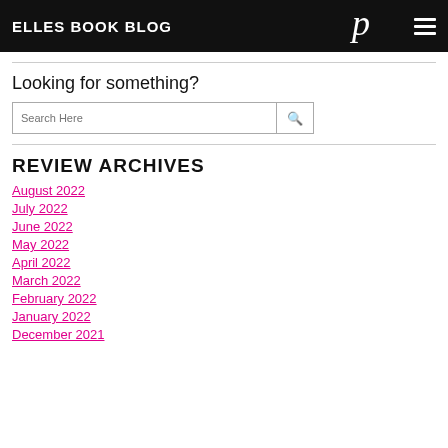ELLES BOOK BLOG
Looking for something?
Search Here
REVIEW ARCHIVES
August 2022
July 2022
June 2022
May 2022
April 2022
March 2022
February 2022
January 2022
December 2021